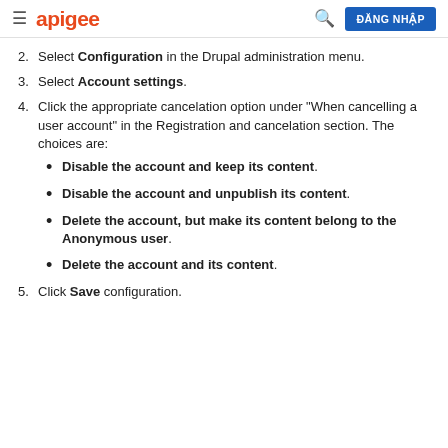apigee  ĐĂNG NHẬP
2. Select Configuration in the Drupal administration menu.
3. Select Account settings.
4. Click the appropriate cancelation option under "When cancelling a user account" in the Registration and cancelation section. The choices are:
Disable the account and keep its content.
Disable the account and unpublish its content.
Delete the account, but make its content belong to the Anonymous user.
Delete the account and its content.
5. Click Save configuration.